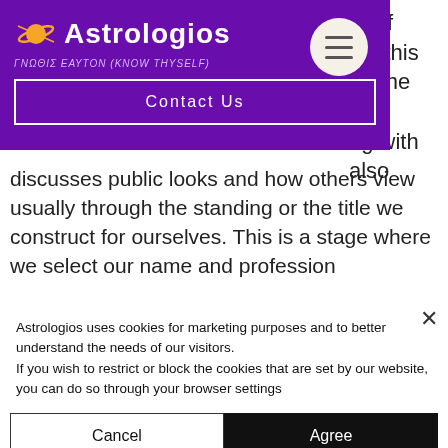[Figure (screenshot): Astrologios website header with purple background, planet logo, site name 'Astrologios', tagline 'ΓΝΩΘΙΣ ΕΑΥΤΟΝ (KNOW THYSELF)', Contact Us button, and hamburger menu icon]
re of
hin this
on the
and
ng with
also
discusses public looks and how others view usually through the standing or the title we construct for ourselves. This is a stage where we select our name and profession
Astrologios uses cookies for marketing purposes and to better understand the needs of our visitors.
If you wish to restrict or block the cookies that are set by our website, you can do so through your browser settings
Cancel
Agree
setings